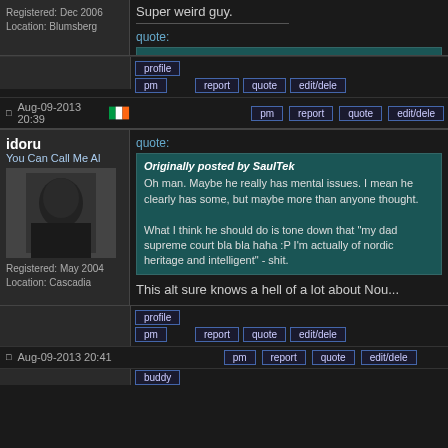Registered: Dec 2006
Location: Blumsberg
Super weird guy.
quote:
Originally posted by OrangestO
This isn't about physics, this is about waves.
Aug-09-2013 20:39
idoru
You Can Call Me Al
Registered: May 2004
Location: Cascadia
quote:
Originally posted by SaulTek
Oh man. Maybe he really has mental issues. I mean he clearly has some, but maybe more than anyone thought.

What I think he should do is tone down that "my dad supreme court bla bla haha :P I'm actually of nordic heritage and intelligent" - shit.
This alt sure knows a hell of a lot about Nou...
Aug-09-2013 20:41